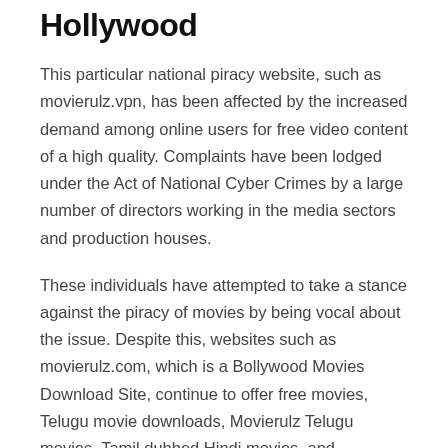Hollywood
This particular national piracy website, such as movierulz.vpn, has been affected by the increased demand among online users for free video content of a high quality. Complaints have been lodged under the Act of National Cyber Crimes by a large number of directors working in the media sectors and production houses.
These individuals have attempted to take a stance against the piracy of movies by being vocal about the issue. Despite this, websites such as movierulz.com, which is a Bollywood Movies Download Site, continue to offer free movies, Telugu movie downloads, Movierulz Telugu movies, Tamil dubbed Hindi movies, and Hollywood movie downloads. But they continue to engage in criminal activity, and the government has not been successful in instilling terror in the minds of